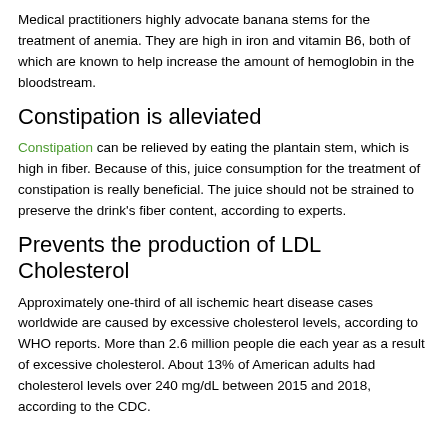Medical practitioners highly advocate banana stems for the treatment of anemia. They are high in iron and vitamin B6, both of which are known to help increase the amount of hemoglobin in the bloodstream.
Constipation is alleviated
Constipation can be relieved by eating the plantain stem, which is high in fiber. Because of this, juice consumption for the treatment of constipation is really beneficial. The juice should not be strained to preserve the drink's fiber content, according to experts.
Prevents the production of LDL Cholesterol
Approximately one-third of all ischemic heart disease cases worldwide are caused by excessive cholesterol levels, according to WHO reports. More than 2.6 million people die each year as a result of excessive cholesterol. About 13% of American adults had cholesterol levels over 240 mg/dL between 2015 and 2018, according to the CDC.